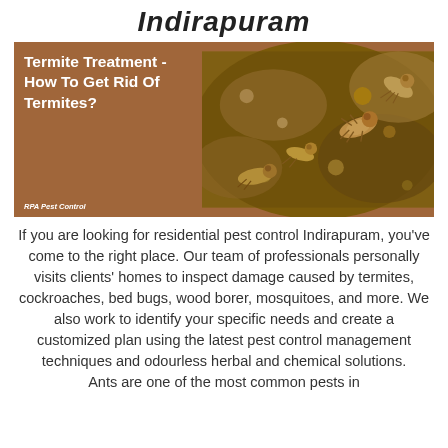Indirapuram
[Figure (photo): Termite Treatment article banner image with brown background on left showing bold white text 'Termite Treatment - How To Get Rid Of Termites?' and a close-up photograph of termites on soil on the right. 'RPA Pest Control' credit appears bottom-left.]
If you are looking for residential pest control Indirapuram, you've come to the right place. Our team of professionals personally visits clients' homes to inspect damage caused by termites, cockroaches, bed bugs, wood borer, mosquitoes, and more. We also work to identify your specific needs and create a customized plan using the latest pest control management techniques and odourless herbal and chemical solutions. Ants are one of the most common pests in